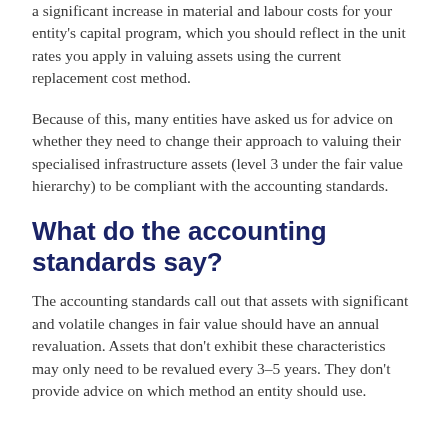a significant increase in material and labour costs for your entity's capital program, which you should reflect in the unit rates you apply in valuing assets using the current replacement cost method.
Because of this, many entities have asked us for advice on whether they need to change their approach to valuing their specialised infrastructure assets (level 3 under the fair value hierarchy) to be compliant with the accounting standards.
What do the accounting standards say?
The accounting standards call out that assets with significant and volatile changes in fair value should have an annual revaluation. Assets that don't exhibit these characteristics may only need to be revalued every 3–5 years. They don't provide advice on which method an entity should use.